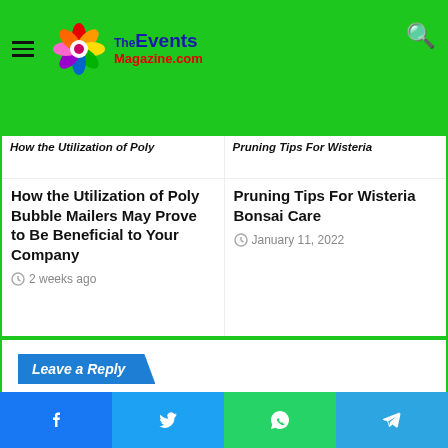[Figure (logo): TheEventsMagazine.com logo with colorful flower-like icon]
How the Utilization of Poly Bubble Mailers May Prove to Be Beneficial to Your Company
2 weeks ago
Pruning Tips For Wisteria Bonsai Care
January 11, 2022
Leave a Reply
You must be logged in to post a comment.
Recent Posts